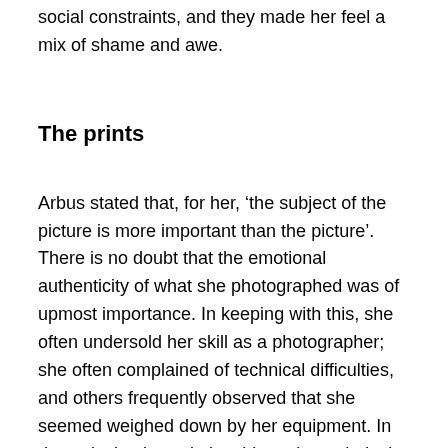social constraints, and they made her feel a mix of shame and awe.
The prints
Arbus stated that, for her, ‘the subject of the picture is more important than the picture’. There is no doubt that the emotional authenticity of what she photographed was of upmost importance. In keeping with this, she often undersold her skill as a photographer; she often complained of technical difficulties, and others frequently observed that she seemed weighed down by her equipment. In downplaying her relationship to the technical aspects of her work, Arbus sought to emphasise instead her rapport with her subjects. All the same, she